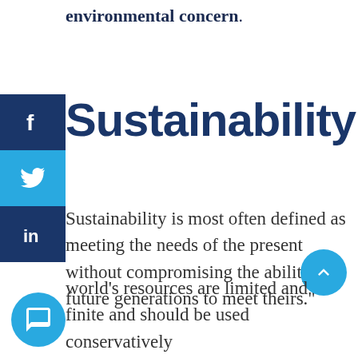environmental concern.
Sustainability
Sustainability is most often defined as meeting the needs of the present without compromising the ability of future generations to meet theirs."
world's resources are limited and finite and should be used conservatively